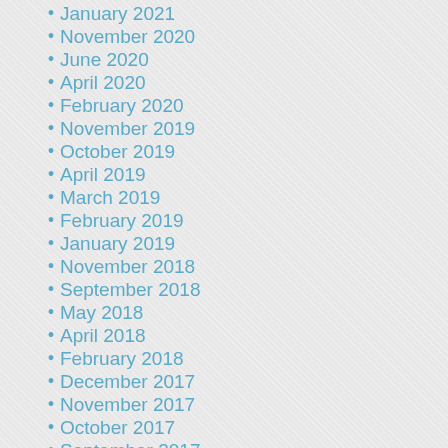January 2021
November 2020
June 2020
April 2020
February 2020
November 2019
October 2019
April 2019
March 2019
February 2019
January 2019
November 2018
September 2018
May 2018
April 2018
February 2018
December 2017
November 2017
October 2017
September 2017